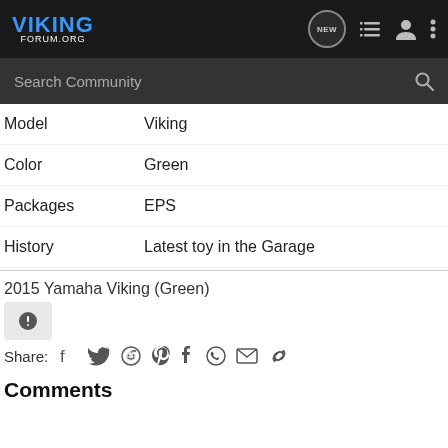VIKING FORUM.ORG
Search Community
Model	Viking
Color	Green
Packages	EPS
History	Latest toy in the Garage
2015 Yamaha Viking (Green)
Share:
Comments